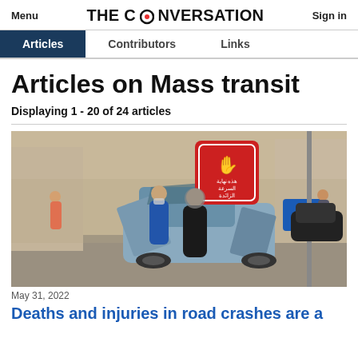Menu | THE CONVERSATION | Sign in
Articles | Contributors | Links
Articles on Mass transit
Displaying 1 - 20 of 24 articles
[Figure (photo): Two people standing near a heavily damaged car on a street. A red stop sign with Arabic text is visible in the background, along with a blue directional sign. The car has extensive crash damage.]
May 31, 2022
Deaths and injuries in road crashes are a